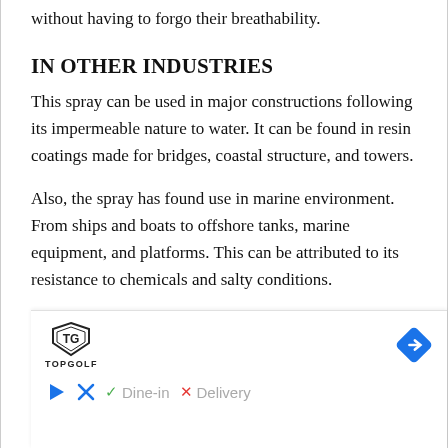without having to forgo their breathability.
IN OTHER INDUSTRIES
This spray can be used in major constructions following its impermeable nature to water. It can be found in resin coatings made for bridges, coastal structure, and towers.
Also, the spray has found use in marine environment. From ships and boats to offshore tanks, marine equipment, and platforms. This can be attributed to its resistance to chemicals and salty conditions.
To carpenters, this spray is their number one choice
[Figure (other): Advertisement banner showing TopGolf logo, a navigation/map arrow icon, play button, and options for Dine-in and Delivery]